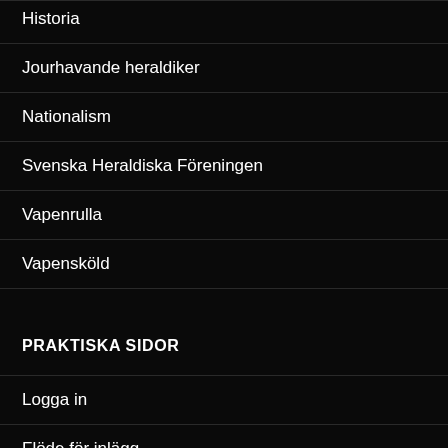Historia
Jourhavande heraldiker
Nationalism
Svenska Heraldiska Föreningen
Vapenrulla
Vapensköld
PRAKTISKA SIDOR
Logga in
Flöde för inlägg
Flöde för kommentarer
WordPress.org